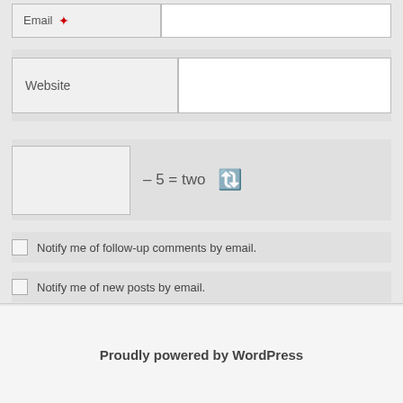Email ★
Website
– 5 = two 🔄
Notify me of follow-up comments by email.
Notify me of new posts by email.
Post Comment
Proudly powered by WordPress